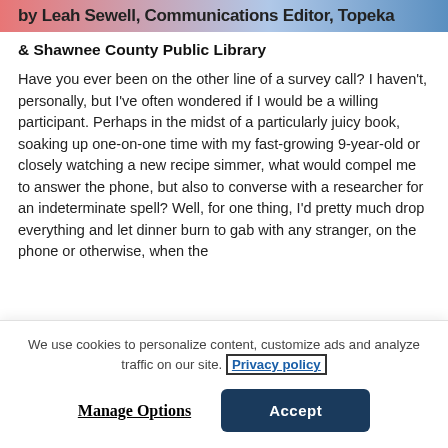by Leah Sewell, Communications Editor, Topeka & Shawnee County Public Library
Have you ever been on the other line of a survey call? I haven't, personally, but I've often wondered if I would be a willing participant. Perhaps in the midst of a particularly juicy book, soaking up one-on-one time with my fast-growing 9-year-old or closely watching a new recipe simmer, what would compel me to answer the phone, but also to converse with a researcher for an indeterminate spell? Well, for one thing, I'd pretty much drop everything and let dinner burn to gab with any stranger, on the phone or otherwise, when the
We use cookies to personalize content, customize ads and analyze traffic on our site. Privacy policy
Manage Options
Accept